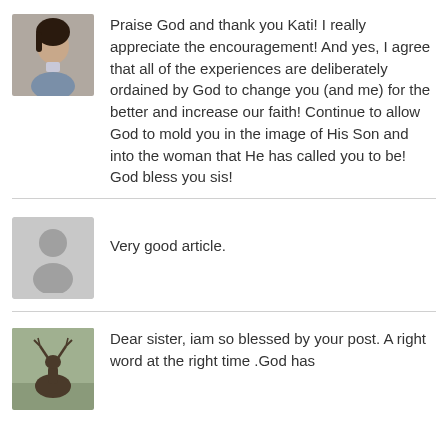[Figure (photo): Profile photo of a woman]
Praise God and thank you Kati! I really appreciate the encouragement! And yes, I agree that all of the experiences are deliberately ordained by God to change you (and me) for the better and increase our faith! Continue to allow God to mold you in the image of His Son and into the woman that He has called you to be! God bless you sis!
[Figure (illustration): Generic placeholder avatar (gray silhouette)]
Very good article.
[Figure (photo): Profile photo with a deer/stag]
Dear sister, iam so blessed by your post. A right word at the right time .God has